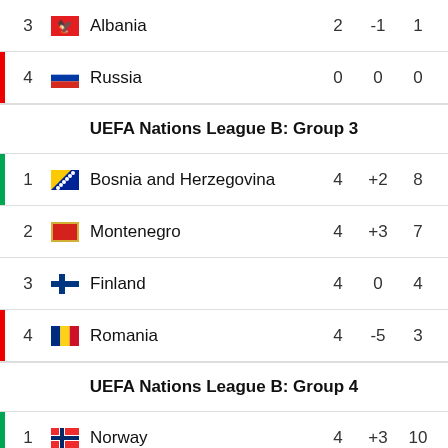| Pos | Flag | Team | GD | Pts |
| --- | --- | --- | --- | --- |
| 3 |  | Albania | -1 | 1 |
| 4 |  | Russia | 0 | 0 |
UEFA Nations League B: Group 3
| Pos | Flag | Team | GD | Pts |
| --- | --- | --- | --- | --- |
| 1 |  | Bosnia and Herzegovina | +2 | 8 |
| 2 |  | Montenegro | +3 | 7 |
| 3 |  | Finland | 0 | 4 |
| 4 |  | Romania | -5 | 3 |
UEFA Nations League B: Group 4
| Pos | Flag | Team | GD | Pts |
| --- | --- | --- | --- | --- |
| 1 |  | Norway | +3 | 10 |
| 2 |  | Serbia | +3 | 7 |
| 3 |  | Sweden | -1 | 3 |
| 4 |  | Slovakia | -5 | ? |